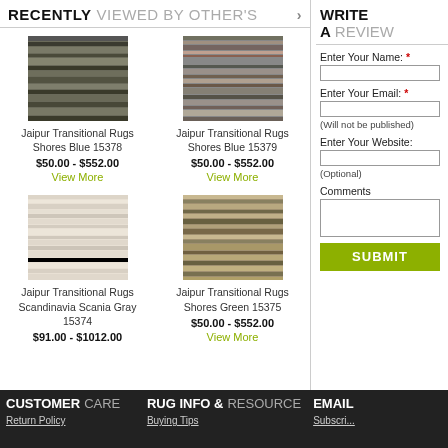RECENTLY VIEWED BY OTHER'S >
[Figure (photo): Jaipur Transitional Rugs Shores Blue 15378 - dark striped rug thumbnail]
Jaipur Transitional Rugs Shores Blue 15378
$50.00 - $552.00
View More
[Figure (photo): Jaipur Transitional Rugs Shores Blue 15379 - multicolor striped rug thumbnail]
Jaipur Transitional Rugs Shores Blue 15379
$50.00 - $552.00
View More
[Figure (photo): Jaipur Transitional Rugs Scandinavia Scania Gray 15374 - light beige rug thumbnail]
Jaipur Transitional Rugs Scandinavia Scania Gray 15374
$91.00 - $1012.00
[Figure (photo): Jaipur Transitional Rugs Shores Green 15375 - green/tan striped rug thumbnail]
Jaipur Transitional Rugs Shores Green 15375
$50.00 - $552.00
View More
WRITE A REVIEW
Enter Your Name: *
Enter Your Email: *
(Will not be published)
Enter Your Website:
(Optional)
Comments
SUBMIT
CUSTOMER CARE | RUG INFO & RESOURCE | EMAIL
Return Policy
Buying Tips
Subscri...